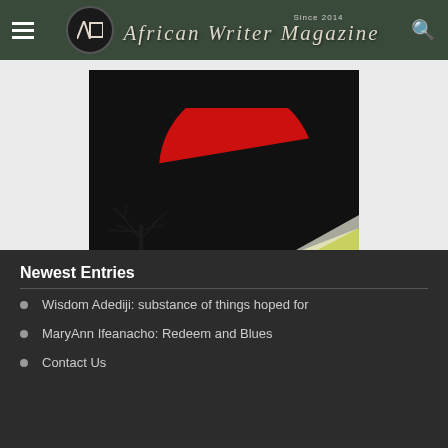African Writer Magazine — Since 2014
[Figure (illustration): Abstract illustration with a large red circle/sphere against a black background, with a bare tree silhouette at the bottom left and a yellow-green area at the bottom right.]
Newest Entries
Wisdom Adediji: substance of things hoped for
MaryAnn Ifeanacho: Redeem and Blues
Contact Us